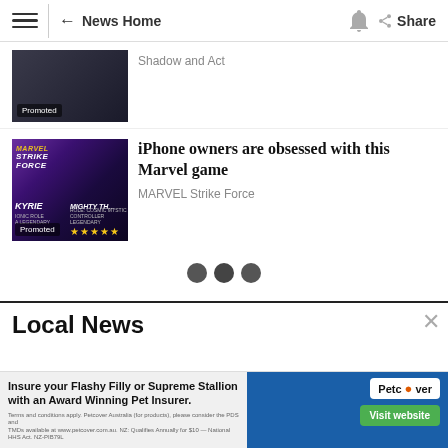News Home Share
[Figure (photo): Dark-toned image with 'Promoted' badge, partial view of article thumbnail related to Shadow and Act]
Shadow and Act
[Figure (photo): Marvel Strike Force game promotional image showing KYRIE and MIGHTY THO characters with 5 gold stars and Promoted badge]
iPhone owners are obsessed with this Marvel game
MARVEL Strike Force
[Figure (other): Three loading indicator dots]
Local News
[Figure (photo): Petcover advertisement: Insure your Flashy Filly or Supreme Stallion with an Award Winning Pet Insurer. Visit website button with horse image.]